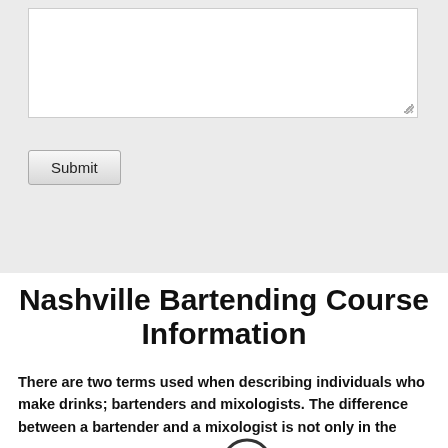[Figure (screenshot): A textarea input box with a resize handle in the bottom-right corner, followed by a Submit button below it, all on a light gray background.]
Nashville Bartending Course Information
There are two terms used when describing individuals who make drinks; bartenders and mixologists. The difference between a bartender and a mixologist is not only in the training you receive but also the amount of money that you can make. A mixologist is trained to not only make drinks